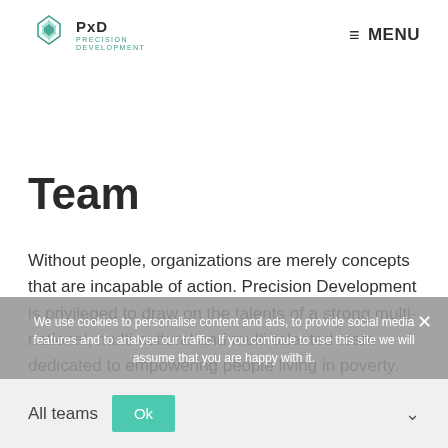PxD Precision Development | MENU
Team
Without people, organizations are merely concepts that are incapable of action. Precision Development is privileged to draw on the talents of a strong multi-national, multi-cultural and multi-talented team dedicated to empowering people living in poverty.
We use cookies to personalise content and ads, to provide social media features and to analyse our traffic. If you continue to use this site we will assume that you are happy with it.
All teams  Ok